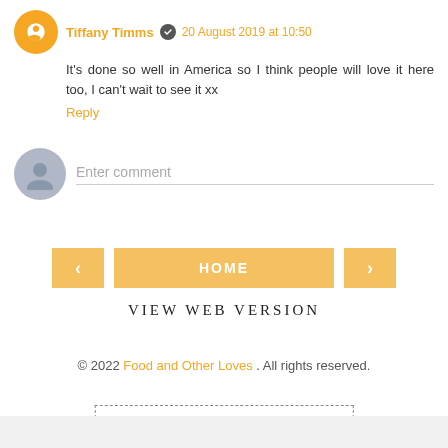Tiffany Timms ✔ 20 August 2019 at 10:50
It's done so well in America so I think people will love it here too, I can't wait to see it xx
Reply
Enter comment
HOME
VIEW WEB VERSION
© 2022 Food and Other Loves . All rights reserved.
Blogger Template Made By pipdig